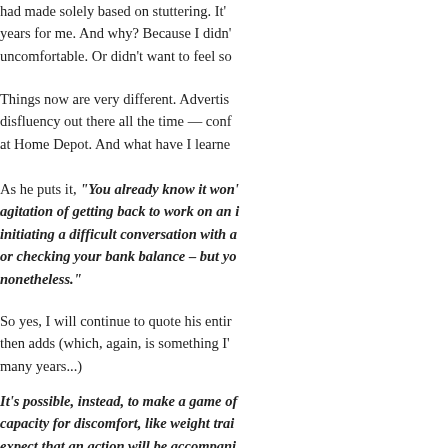had made solely based on stuttering. It's cost me years for me. And why? Because I didn't want to feel uncomfortable. Or didn't want to feel so...
Things now are very different. Advertis... disfluency out there all the time — conf... at Home Depot. And what have I learne...
As he puts it, “You already know it won’t... agitation of getting back to work on an i... initiating a difficult conversation with a... or checking your bank balance – but yo... nonetheless.”
So yes, I will continue to quote his entir... then adds (which, again, is something I’... many years...)
It’s possible, instead, to make a game of... capacity for discomfort, like weight trai... expect that an action will be accompani...